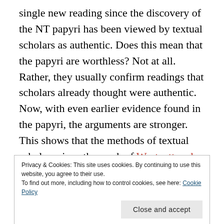single new reading since the discovery of the NT papyri has been viewed by textual scholars as authentic. Does this mean that the papyri are worthless? Not at all. Rather, they usually confirm readings that scholars already thought were authentic. Now, with even earlier evidence found in the papyri, the arguments are stronger. This shows that the methods of textual scholars since the work of Westcott and Hort (1881–1882) are, in broad strokes and in many particulars, on target. But, with regard to Blomberg's point, it also shows that if history is any indication, it would be
Privacy & Cookies: This site uses cookies. By continuing to use this website, you agree to their use. To find out more, including how to control cookies, see here: Cookie Policy
of also-rans.